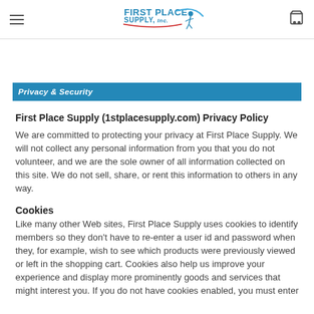First Place Supply, Inc. — Navigation header with logo and cart icon
Privacy & Security
First Place Supply (1stplacesupply.com) Privacy Policy
We are committed to protecting your privacy at First Place Supply. We will not collect any personal information from you that you do not volunteer, and we are the sole owner of all information collected on this site. We do not sell, share, or rent this information to others in any way.
Cookies
Like many other Web sites, First Place Supply uses cookies to identify members so they don't have to re-enter a user id and password when they, for example, wish to see which products were previously viewed or left in the shopping cart. Cookies also help us improve your experience and display more prominently goods and services that might interest you. If you do not have cookies enabled, you must enter